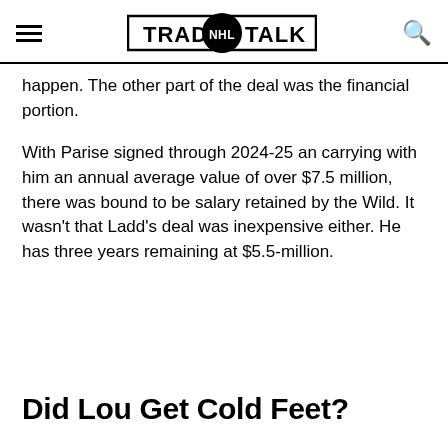Trade NHL Talk
happen. The other part of the deal was the financial portion.
With Parise signed through 2024-25 an carrying with him an annual average value of over $7.5 million, there was bound to be salary retained by the Wild. It wasn't that Ladd's deal was inexpensive either. He has three years remaining at $5.5-million.
Did Lou Get Cold Feet?